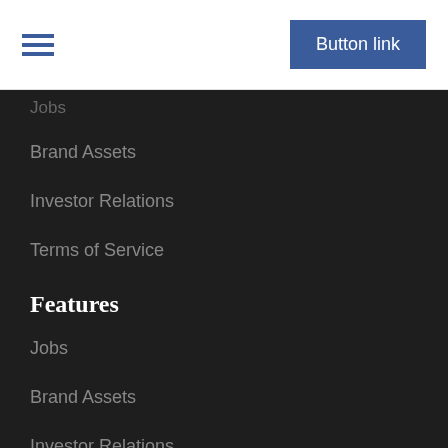Button link
Jobs
Brand Assets
Investor Relations
Terms of Service
Features
Jobs
Brand Assets
Investor Relations
Terms of Service
Resources